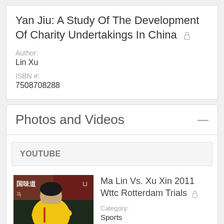Yan Jiu: A Study Of The Development Of Charity Undertakings In China
Author:
Lin Xu
ISBN #:
7508708288
Photos and Videos
YOUTUBE
[Figure (photo): Thumbnail of Ma Lin, a table tennis player wearing a yellow jersey, playing at the 2011 WTTC Rotterdam Trials]
Ma Lin Vs. Xu Xin 2011 Wttc Rotterdam Trials
Category:
Sports
Uploaded:
27 May 2011